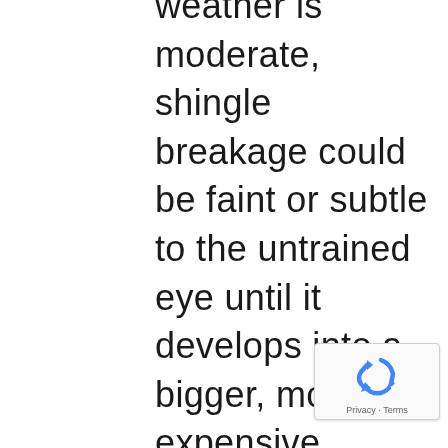weather is moderate, shingle breakage could be faint or subtle to the untrained eye until it develops into a bigger, more expensive problems. Residence owners should regularly tested and maintain their roofs. Roof maintenance should be left to a highly-skilled roof tech. It is reported that close to 100 deaths occur each year due to roofing-related accidents and falls. There is always a danger when climbing up a ladder. Routine roof
[Figure (other): reCAPTCHA badge with recycling-arrows logo and Privacy - Terms text]